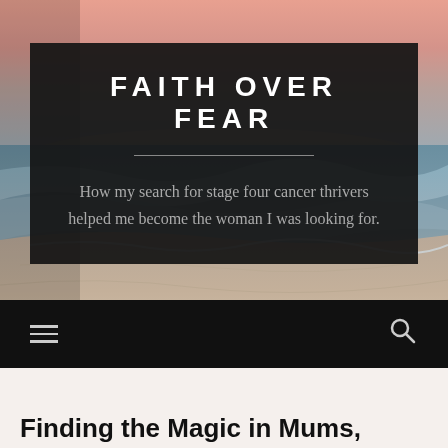[Figure (photo): Beach/ocean scene at sunset with warm pink and orange sky tones, waves and sandy shore visible]
FAITH OVER FEAR
How my search for stage four cancer thrivers helped me become the woman I was looking for.
[Figure (other): Navigation bar with hamburger menu icon on left and search icon on right, dark background]
Finding the Magic in Mums,